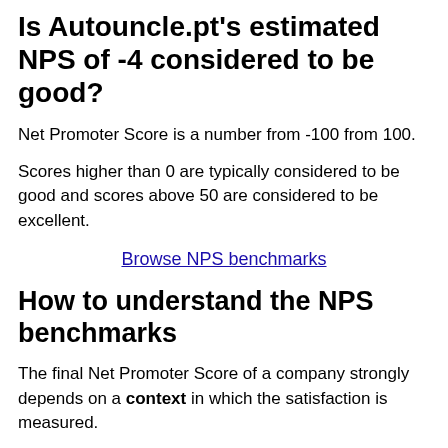Is Autouncle.pt's estimated NPS of -4 considered to be good?
Net Promoter Score is a number from -100 from 100.
Scores higher than 0 are typically considered to be good and scores above 50 are considered to be excellent.
Browse NPS benchmarks
How to understand the NPS benchmarks
The final Net Promoter Score of a company strongly depends on a context in which the satisfaction is measured.
Consider an example: If Autouncle.pt sends out NPS surveys immediately after purchase, they are tracking their customers' initial excitement and the checkout experience.
On the other hand, if they survey their customers a few weeks after the purchase they are also tracking how